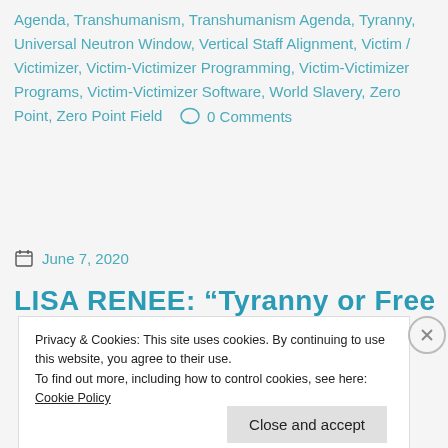Agenda, Transhumanism, Transhumanism Agenda, Tyranny, Universal Neutron Window, Vertical Staff Alignment, Victim / Victimizer, Victim-Victimizer Programming, Victim-Victimizer Programs, Victim-Victimizer Software, World Slavery, Zero Point, Zero Point Field   0 Comments
June 7, 2020
LISA RENEE: "Tyranny or Freedom"
Privacy & Cookies: This site uses cookies. By continuing to use this website, you agree to their use.
To find out more, including how to control cookies, see here: Cookie Policy